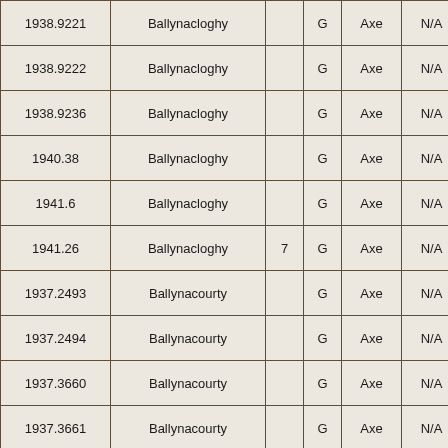| 1938.9221 | Ballynacloghy |  | G | Axe | N/A |  |
| 1938.9222 | Ballynacloghy |  | G | Axe | N/A |  |
| 1938.9236 | Ballynacloghy |  | G | Axe | N/A |  |
| 1940.38 | Ballynacloghy |  | G | Axe | N/A |  |
| 1941.6 | Ballynacloghy |  | G | Axe | N/A |  |
| 1941.26 | Ballynacloghy | 7 | G | Axe | N/A |  |
| 1937.2493 | Ballynacourty |  | G | Axe | N/A |  |
| 1937.2494 | Ballynacourty |  | G | Axe | N/A |  |
| 1937.3660 | Ballynacourty |  | G | Axe | N/A |  |
| 1937.3661 | Ballynacourty |  | G | Axe | N/A |  |
|  |  |  |  |  |  |  |